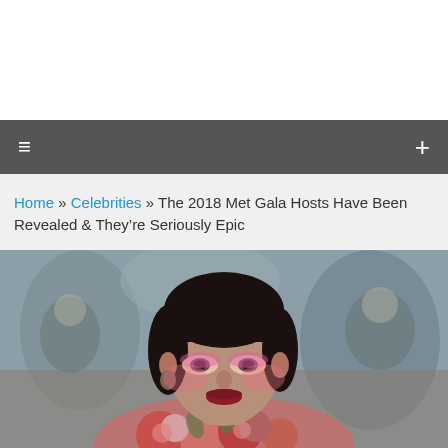≡  +
Home » Celebrities » The 2018 Met Gala Hosts Have Been Revealed & They're Seriously Epic
[Figure (photo): Close-up photo of a woman (Rihanna) wearing bold pink eye makeup and a floral outfit at what appears to be the Met Gala, with blurred crowd in background.]